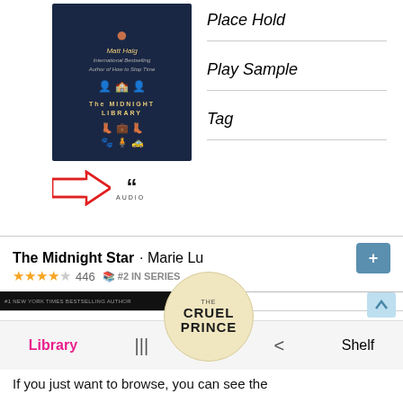[Figure (screenshot): Book cover of The Midnight Library by Matt Haig, dark navy blue with golden title text]
Place Hold
Play Sample
Tag
[Figure (infographic): Red arrow pointing right toward audio quotation mark icon with AUDIO label below]
The Midnight Star · Marie Lu
★★★★☆ 446  #2 IN SERIES
[Figure (photo): The Cruel Prince book cover in circular overlay]
Library
Shelf
If you just want to browse, you can see the